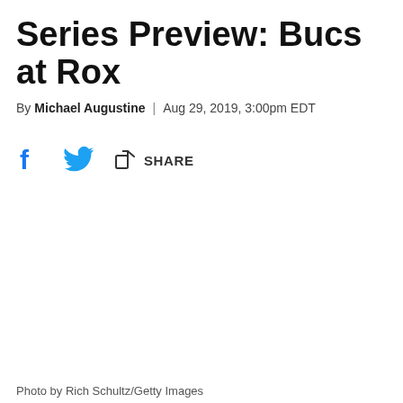Series Preview: Bucs at Rox
By Michael Augustine | Aug 29, 2019, 3:00pm EDT
SHARE
Photo by Rich Schultz/Getty Images